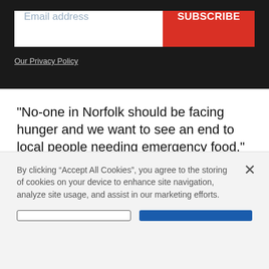[Figure (screenshot): Email subscription bar with white input field showing placeholder 'Email address' and a red 'SUBSCRIBE' button on dark background, with 'Our Privacy Policy' link below]
"No-one in Norfolk should be facing hunger and we want to see an end to local people needing emergency food," he said.
"While we work alongside other food banks in the Trussell Trust network to bring about long-term change to ensure everyone has enough money for the
By clicking “Accept All Cookies”, you agree to the storing of cookies on your device to enhance site navigation, analyze site usage, and assist in our marketing efforts.